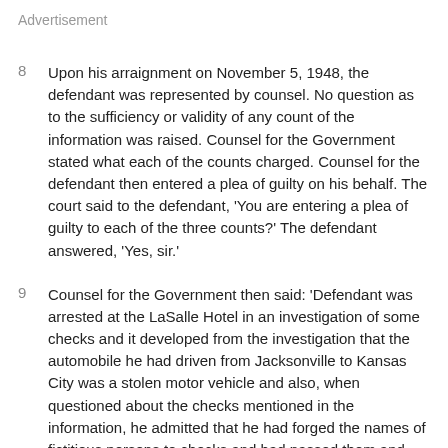Advertisement
8
Upon his arraignment on November 5, 1948, the defendant was represented by counsel. No question as to the sufficiency or validity of any count of the information was raised. Counsel for the Government stated what each of the counts charged. Counsel for the defendant then entered a plea of guilty on his behalf. The court said to the defendant, 'You are entering a plea of guilty to each of the three counts?' The defendant answered, 'Yes, sir.'
9
Counsel for the Government then said: 'Defendant was arrested at the LaSalle Hotel in an investigation of some checks and it developed from the investigation that the automobile he had driven from Jacksonville to Kansas City was a stolen motor vehicle and also, when questioned about the checks mentioned in the information, he admitted that he had forged the names of fictitious persons to checks and had passed them and received money from them.' Government counsel then pointed out that the defendant had a long criminal record, including convictions for theft and forgery.